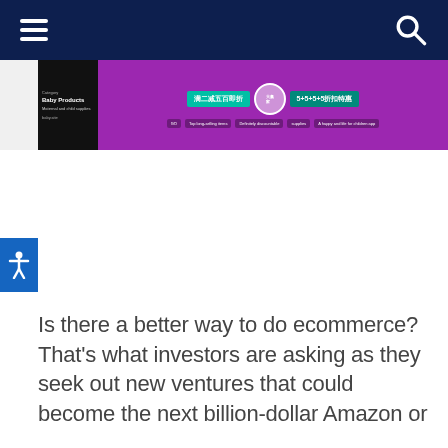[Figure (screenshot): Navigation bar with dark navy background, hamburger menu icon on left, search magnifying glass icon on right]
[Figure (screenshot): E-commerce banner advertisement with purple background, Chinese text, teal ribbons, and promotional imagery]
Is there a better way to do ecommerce? That's what investors are asking as they seek out new ventures that could become the next billion-dollar Amazon or